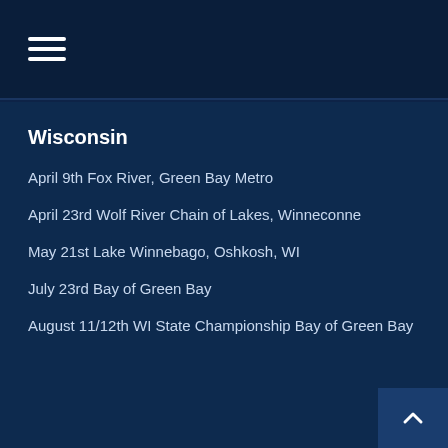Wisconsin
April 9th Fox River, Green Bay Metro
April 23rd Wolf River Chain of Lakes, Winneconne
May 21st Lake Winnebago, Oshkosh, WI
July 23rd Bay of Green Bay
August 11/12th WI State Championship Bay of Green Bay